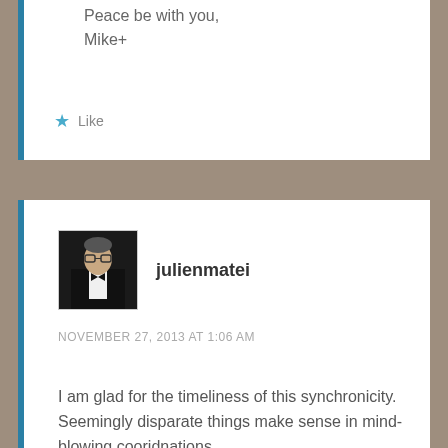Peace be with you,
Mike+
★ Like
[Figure (photo): Avatar photo of a man in a tuxedo/formal wear, dark background]
julienmatei
NOVEMBER 27, 2013 AT 1:06 AM
I am glad for the timeliness of this synchronicity. Seemingly disparate things make sense in mind-blowing cooridnations.